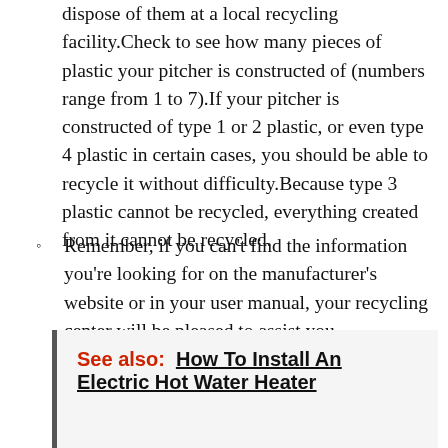dispose of them at a local recycling facility.Check to see how many pieces of plastic your pitcher is constructed of (numbers range from 1 to 7).If your pitcher is constructed of type 1 or 2 plastic, or even type 4 plastic in certain cases, you should be able to recycle it without difficulty.Because type 3 plastic cannot be recycled, everything created from it cannot be recycled.
Remember, if you can't find the information you're looking for on the manufacturer's website or in your user manual, your recycling center will be pleased to assist you.
See also:  How To Install An Electric Hot Water Heater